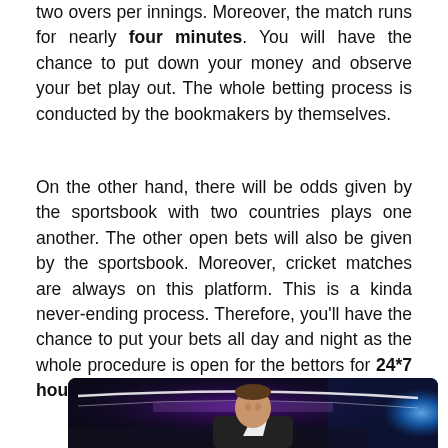two overs per innings. Moreover, the match runs for nearly four minutes. You will have the chance to put down your money and observe your bet play out. The whole betting process is conducted by the bookmakers by themselves.
On the other hand, there will be odds given by the sportsbook with two countries plays one another. The other open bets will also be given by the sportsbook. Moreover, cricket matches are always on this platform. This is a kinda never-ending process. Therefore, you'll have the chance to put your bets all day and night as the whole procedure is open for the bettors for 24*7 hours.
[Figure (photo): A TV show host or presenter standing at a desk with a purple and blue illuminated backdrop, curved white lighting elements visible behind him]